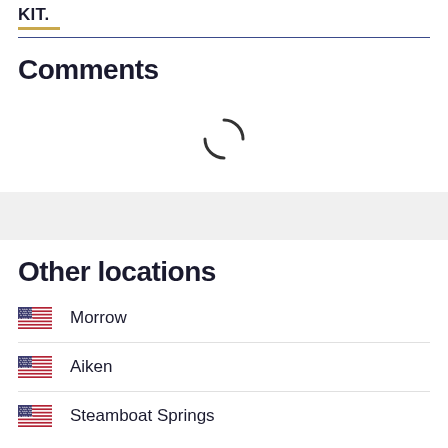KIT.
Comments
[Figure (other): Loading spinner icon (partial circle arc)]
Other locations
Morrow
Aiken
Steamboat Springs